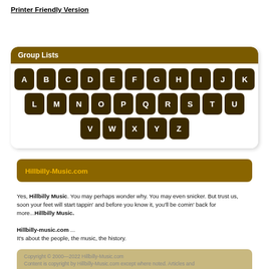Printer Friendly Version
Group Lists
[Figure (other): Keyboard layout with letter keys A-Z arranged in three rows on a dark brown background, representing alphabetical group list navigation]
Hillbilly-Music.com
Yes, Hillbilly Music. You may perhaps wonder why. You may even snicker. But trust us, soon your feet will start tappin' and before you know it, you'll be comin' back for more...Hillbilly Music.
Hillbilly-music.com ... It's about the people, the music, the history.
Copyright © 2000—2022 Hillbilly-Music.com Content is copyright by Hillbilly-Music.com except where noted. Articles and